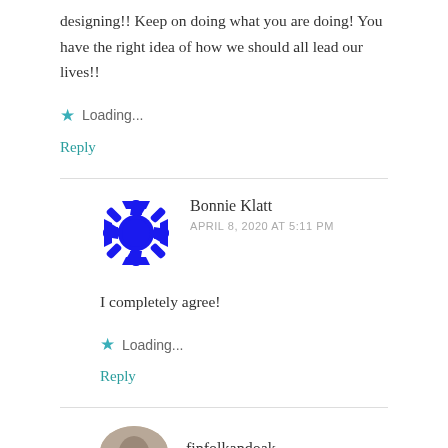designing!! Keep on doing what you are doing! You have the right idea of how we should all lead our lives!!
Loading...
Reply
Bonnie Klatt
APRIL 8, 2020 AT 5:11 PM
I completely agree!
Loading...
Reply
finfolkandoak